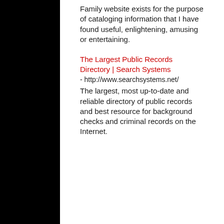Family website exists for the purpose of cataloging information that I have found useful, enlightening, amusing or entertaining.
The Largest Public Records Directory | Search Systems - http://www.searchsystems.net/
The largest, most up-to-date and reliable directory of public records and best resource for background checks and criminal records on the Internet.